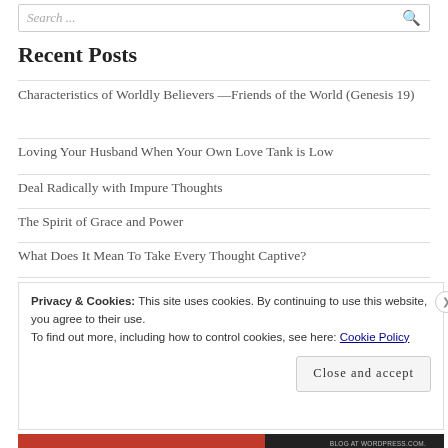Search ...
Recent Posts
Characteristics of Worldly Believers —Friends of the World (Genesis 19)
Loving Your Husband When Your Own Love Tank is Low
Deal Radically with Impure Thoughts
The Spirit of Grace and Power
What Does It Mean To Take Every Thought Captive?
Privacy & Cookies: This site uses cookies. By continuing to use this website, you agree to their use.
To find out more, including how to control cookies, see here: Cookie Policy
Close and accept